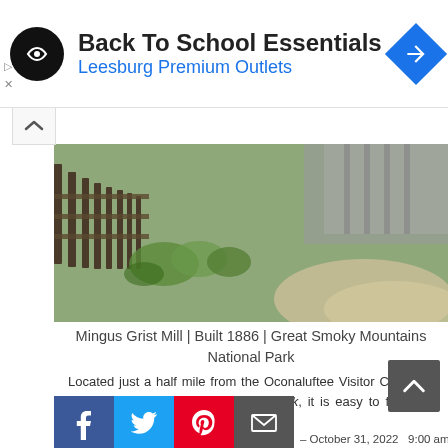[Figure (infographic): Back To School Essentials advertisement banner for Leesburg Premium Outlets with logo, title, and navigation icon]
[Figure (photo): Mingus Grist Mill exterior showing fence posts and gravel path at Great Smoky Mountains National Park]
Mingus Grist Mill | Built 1886 | Great Smoky Mountains National Park
Located just a half mile from the Oconaluftee Visitor Center of Great Smoky Mountains National Park, it is easy to find and even easier to enjoy.
The whole family can take a tour of the mill, talk to the miller, and even buy cornmeal from the gift shop. There is plenty of parking and restrooms are provided. Best of all, entrance is FREE.
Open daily April 5 – October 31, 2022   9:00 am – 5:00